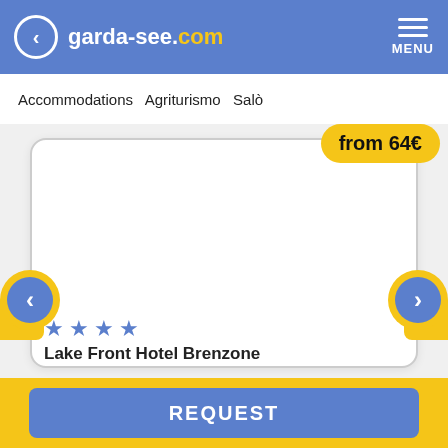garda-see.com MENU
Accommodations  Agriturismo  Salò
[Figure (screenshot): Hotel listing card with white background and rounded border, showing price badge 'from 64€' in yellow, navigation arrows on left and right, four blue stars, and hotel name 'Lake Front Hotel Brenzone']
from 64€
★ ★ ★ ★
Lake Front Hotel Brenzone
REQUEST